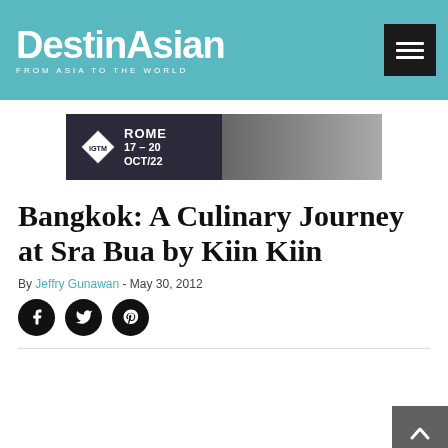DestinAsian — FROM ASIA TO THE WORLD
[Figure (photo): IGTM Rome 17-20 Oct/22 advertisement banner with man in sunglasses]
Bangkok: A Culinary Journey at Sra Bua by Kiin Kiin
By Jeffry Gunawan - May 30, 2012
[Figure (infographic): Social sharing icons: Facebook, Twitter, Pinterest (black circles)]